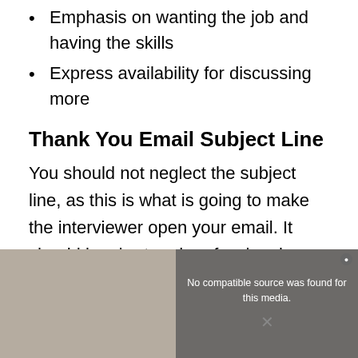Emphasis on wanting the job and having the skills
Express availability for discussing more
Thank You Email Subject Line
You should not neglect the subject line, as this is what is going to make the interviewer open your email. It should be short and professional.
[Figure (other): Media overlay with message: No compatible source was found for this media. With a close button and an X icon over a blurred background image.]